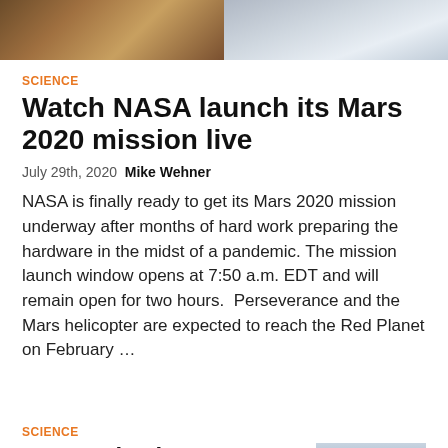[Figure (photo): Top banner image split: left half shows industrial/mechanical hardware with warm brown tones, right half shows a white structured surface with grid pattern]
SCIENCE
Watch NASA launch its Mars 2020 mission live
July 29th, 2020  Mike Wehner
NASA is finally ready to get its Mars 2020 mission underway after months of hard work preparing the hardware in the midst of a pandemic. The mission launch window opens at 7:50 a.m. EDT and will remain open for two hours.  Perseverance and the Mars helicopter are expected to reach the Red Planet on February ...
SCIENCE
SpaceX is about to launch
[Figure (photo): Partial image of a rocket or launch structure against a grey sky]